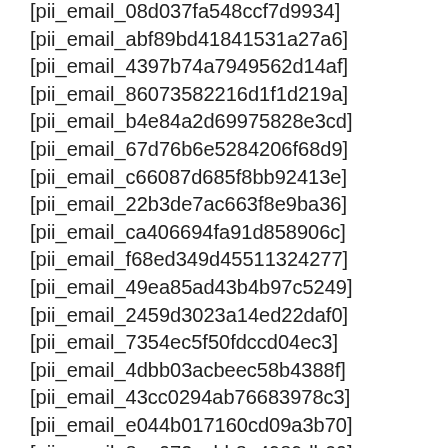[pii_email_08d037fa548ccf7d9934]
[pii_email_abf89bd41841531a27a6]
[pii_email_4397b74a7949562d14af]
[pii_email_86073582216d1f1d219a]
[pii_email_b4e84a2d69975828e3cd]
[pii_email_67d76b6e5284206f68d9]
[pii_email_c66087d685f8bb92413e]
[pii_email_22b3de7ac663f8e9ba36]
[pii_email_ca406694fa91d858906c]
[pii_email_f68ed349d45511324277]
[pii_email_49ea85ad43b4b97c5249]
[pii_email_2459d3023a14ed22daf0]
[pii_email_7354ec5f50fdccd04ec3]
[pii_email_4dbb03acbeec58b4388f]
[pii_email_43cc0294ab76683978c3]
[pii_email_e044b017160cd09a3b70]
[pii_email_8aa072cabb8e4989db60]
[pii_email_3d83491d8b77a2941dfc]